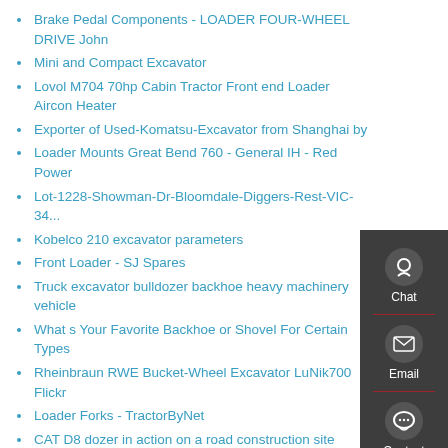Brake Pedal Components - LOADER FOUR-WHEEL DRIVE John
Mini and Compact Excavator
Lovol M704 70hp Cabin Tractor Front end Loader Aircon Heater
Exporter of Used-Komatsu-Excavator from Shanghai by
Loader Mounts Great Bend 760 - General IH - Red Power
Lot-1228-Showman-Dr-Bloomdale-Diggers-Rest-VIC-34...
Kobelco 210 excavator parameters
Front Loader - SJ Spares
Truck excavator bulldozer backhoe heavy machinery vehicle
What s Your Favorite Backhoe or Shovel For Certain Types
Rheinbraun RWE Bucket-Wheel Excavator LuNik700 Flickr
Loader Forks - TractorByNet
CAT D8 dozer in action on a road construction site
Xinzhou Backhoe Loader
Brush Grinder and Excavator Landclearing Troutman NC
SEM659C WHEEL LOADER One Oil Palm